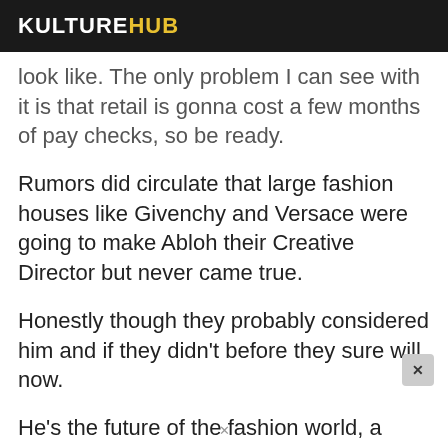KULTUREHUB
look like. The only problem I can see with it is that retail is gonna cost a few months of pay checks, so be ready.
Rumors did circulate that large fashion houses like Givenchy and Versace were going to make Abloh their Creative Director but never came true.
Honestly though they probably considered him and if they didn't before they sure will now.
He's the future of the fashion world, a black man with a masters in architecture is the future of fashion, that's crazy.